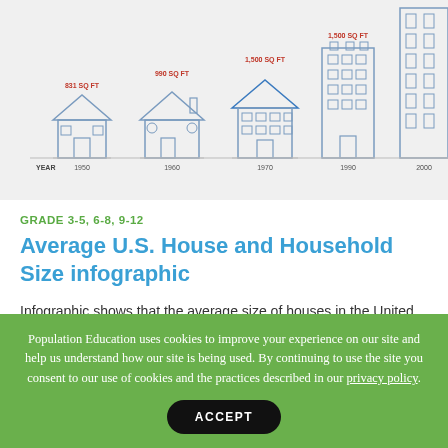[Figure (infographic): Infographic showing houses of increasing size over time (from smaller single-story to taller multi-story buildings), with red square footage labels above each house and year labels below. Represents average U.S. house size growth over decades.]
GRADE 3-5, 6-8, 9-12
Average U.S. House and Household Size infographic
Infographic shows that the average size of houses in the United States has increased from...
Population Education uses cookies to improve your experience on our site and help us understand how our site is being used. By continuing to use the site you consent to our use of cookies and the practices described in our privacy policy.